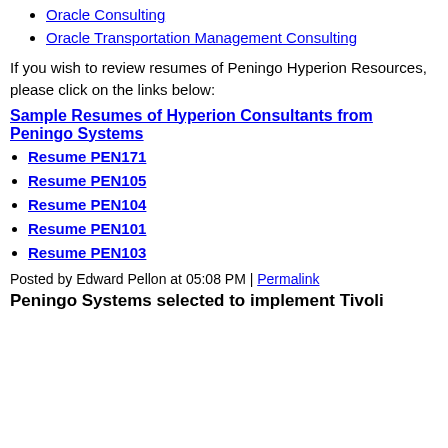Oracle Consulting
Oracle Transportation Management Consulting
If you wish to review resumes of Peningo Hyperion Resources, please click on the links below:
Sample Resumes of Hyperion Consultants from Peningo Systems
Resume PEN171
Resume PEN105
Resume PEN104
Resume PEN101
Resume PEN103
Posted by Edward Pellon at 05:08 PM | Permalink
Peningo Systems selected to implement Tivoli